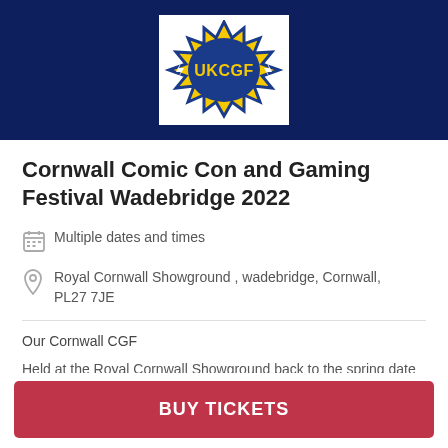[Figure (logo): UKCGF logo — a spiky comic-book burst shape in yellow with blue border, letters UKCGF in blue, lightning bolts on sides, white background]
Cornwall Comic Con and Gaming Festival Wadebridge 2022
Multiple dates and times
Royal Cornwall Showground , wadebridge, Cornwall, PL27 7JE
Our Cornwall CGF
Held at the Royal Cornwall Showground back to the spring date
BUY TICKETS